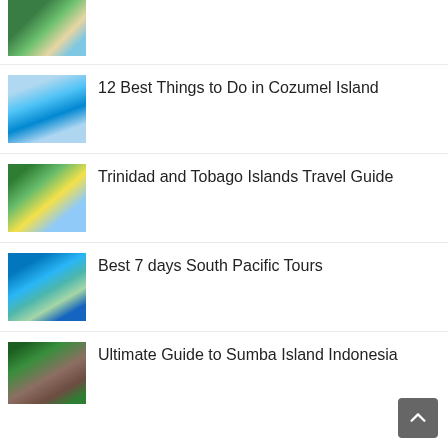[Figure (photo): Partially visible beach/tropical photo at top of list]
12 Best Things to Do in Cozumel Island
[Figure (photo): Cozumel Island beach with blue water and cruise ship]
Trinidad and Tobago Islands Travel Guide
[Figure (photo): Trinidad and Tobago beach with palm trees and pier]
Best 7 days South Pacific Tours
[Figure (photo): South Pacific island with mountain and turquoise water]
Ultimate Guide to Sumba Island Indonesia
[Figure (photo): Sumba Island Indonesia traditional village with jungle]